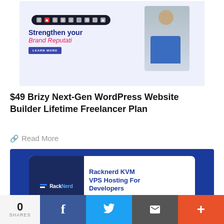[Figure (screenshot): Screenshot of Brizy website builder interface showing toolbar with formatting icons, 'Strengthen your Brand Reputati' text with a person in plaid shirt working at computer, and a 'LEARN MORE' button on lavender background]
$49 Brizy Next-Gen WordPress Website Builder Lifetime Freelancer Plan
Read More
[Figure (screenshot): RackNerd KVM VPS Hosting advertisement card on dark blue background showing RackNerd logo on dark navy box beside white card with title 'Racknerd KVM VPS Hosting For Developers' and URL markdownblogg.com]
0 SHARES | Facebook share | Twitter share | Email share | More